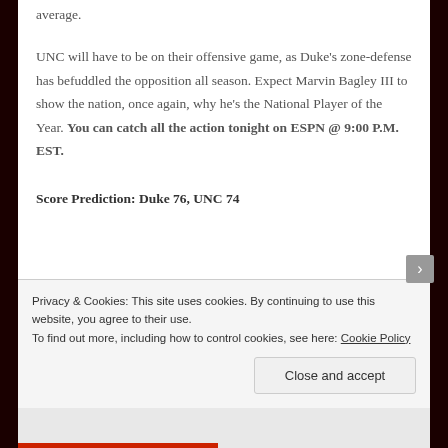average.
UNC will have to be on their offensive game, as Duke's zone-defense has befuddled the opposition all season. Expect Marvin Bagley III to show the nation, once again, why he's the National Player of the Year. You can catch all the action tonight on ESPN @ 9:00 P.M. EST.
Score Prediction: Duke 76, UNC 74
Privacy & Cookies: This site uses cookies. By continuing to use this website, you agree to their use.
To find out more, including how to control cookies, see here: Cookie Policy
Close and accept